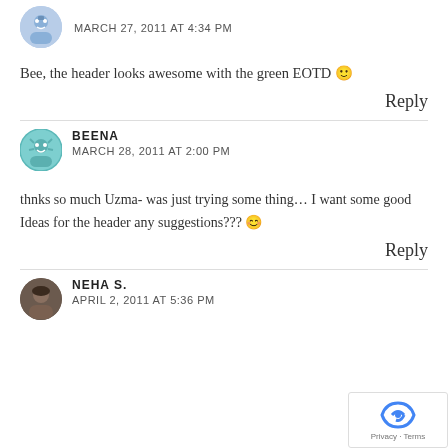MARCH 27, 2011 AT 4:34 PM
Bee, the header looks awesome with the green EOTD 🙂
Reply
BEENA
MARCH 28, 2011 AT 2:00 PM
thnks so much Uzma- was just trying some thing... I want some good Ideas for the header any suggestions??? 😊
Reply
NEHA S.
APRIL 2, 2011 AT 5:36 PM